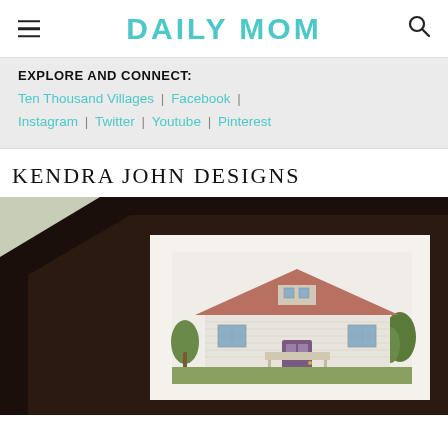DAILY MOM
EXPLORE AND CONNECT:
Ten Thousand Villages | Facebook | Instagram | Twitter | Youtube | Pinterest
KENDRA JOHN DESIGNS
[Figure (photo): A framed watercolor illustration of a house, displayed in a dark brown/black frame with white mat, sitting on a light green-gray wall background. The artwork shows a two-story craftsman-style home with detailed architectural elements.]